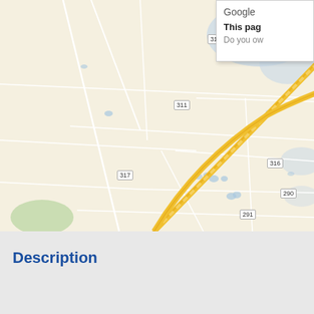[Figure (map): Google Maps view of Caps and View, Texas area showing rural roads labeled 309, 310, 311, 312, 313, 316, 317, 290, 291, 257, 256, 297, 333, 707, 339, 338, 653. A yellow diagonal road (highway) runs through the map. Place names 'Caps' and 'View' are labeled. A Google popup appears in the top-right corner with text 'Google' and 'This page' and 'Do you ow'.]
Description